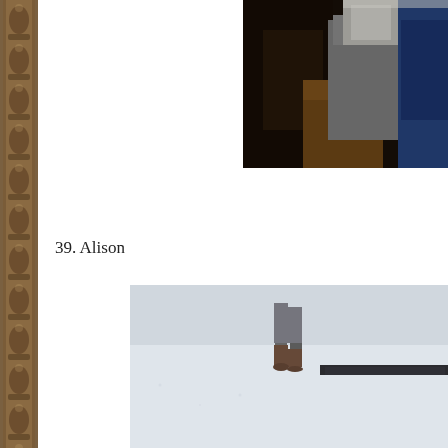[Figure (photo): Dark indoor scene showing a person in grey coat and blue jacket, partially visible, standing near a wooden door or wall. Image is cropped at the top-right of the page.]
39. Alison
[Figure (photo): Outdoor winter scene showing a person walking in deep snow. The lower portion shows a dark boot close to camera, and in the background another person's legs walking away in grey boots. White snowy landscape fills the frame.]